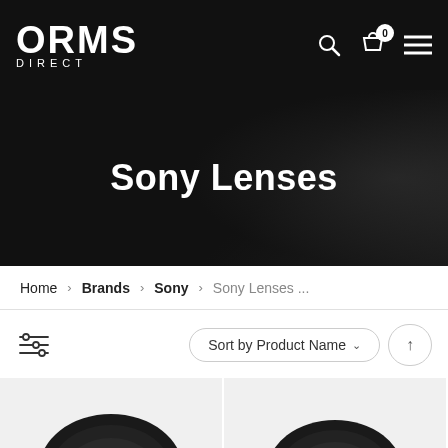[Figure (screenshot): ORMS Direct e-commerce website header with logo on black background and navigation icons (search, cart with 0 badge, hamburger menu)]
Sony Lenses
Home  Brands  Sony  Sony Lenses ...
[Figure (screenshot): Filter icon (sliders) on left, Sort by Product Name dropdown and sort order button on right]
[Figure (photo): Two Sony camera lenses shown partially at the bottom of the page on light grey backgrounds]